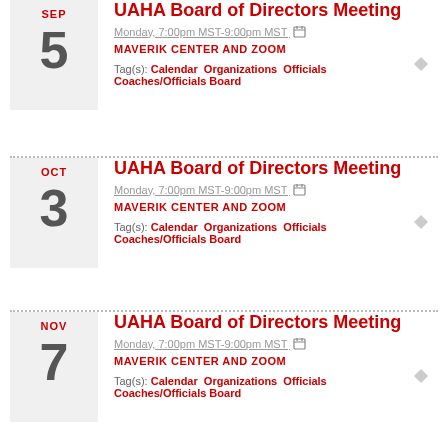SEP 5 — UAHA Board of Directors Meeting — Monday, 7:00pm MST-9:00pm MST — MAVERIK CENTER AND ZOOM — Tag(s): Calendar Organizations Officials Coaches/Officials Board
OCT 3 — UAHA Board of Directors Meeting — Monday, 7:00pm MST-9:00pm MST — MAVERIK CENTER AND ZOOM — Tag(s): Calendar Organizations Officials Coaches/Officials Board
NOV 7 — UAHA Board of Directors Meeting — Monday, 7:00pm MST-9:00pm MST — MAVERIK CENTER AND ZOOM — Tag(s): Calendar Organizations Officials Coaches/Officials Board